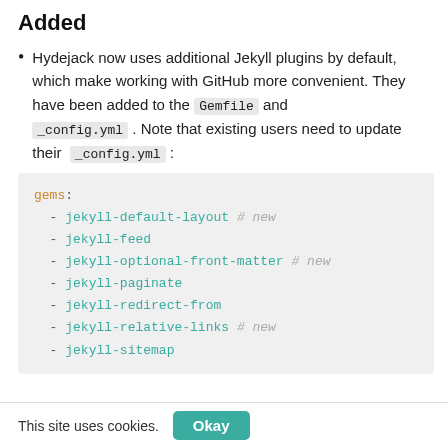Added
Hydejack now uses additional Jekyll plugins by default, which make working with GitHub more convenient. They have been added to the Gemfile and _config.yml . Note that existing users need to update their _config.yml :
gems:
  - jekyll-default-layout # new
  - jekyll-feed
  - jekyll-optional-front-matter # new
  - jekyll-paginate
  - jekyll-redirect-from
  - jekyll-relative-links # new
  - jekyll-sitemap
This site uses cookies.   Okay